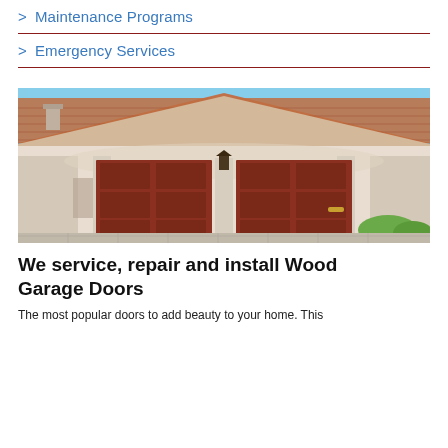> Maintenance Programs
> Emergency Services
[Figure (photo): Exterior photo of a residential home with two large wood garage doors, terracotta tile roof, white stucco facade, and paved driveway]
We service, repair and install Wood Garage Doors
The most popular doors to add beauty to your home. This